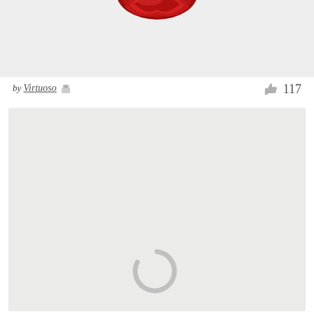[Figure (photo): Top portion of an image showing a red decorative shape/object against a light textured gray background]
by Virtuoso  👤  117
[Figure (photo): Large image panel in loading state with a gray rounded-rectangle background and a loading spinner icon (partial arc circle) centered near the bottom]